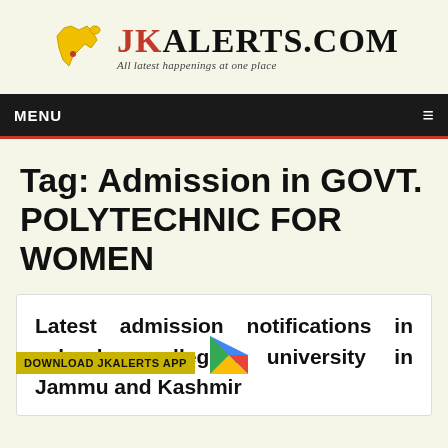[Figure (logo): JKAlerts.com logo with yellow map of Jammu & Kashmir and text 'JKALERTS.COM - All latest happenings at one place']
MENU ≡
Tag: Admission in GOVT. POLYTECHNIC FOR WOMEN
Latest admission notifications in schools, colleges, university in Jammu and Kashmir
[Figure (infographic): DOWNLOAD JKALERTS APP banner with Google Play arrow icon]